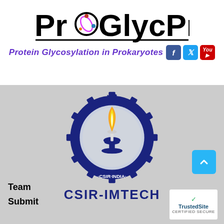[Figure (logo): ProGlycProt logo — large bold text with decorative DNA/molecule element replacing the 'o' in Pro, underlined]
Protein Glycosylation in Prokaryotes
[Figure (logo): CSIR-INDIA gear logo with lamp/flame in center, Hindi text around the ring, on grey background, with CSIR-IMTECH text below]
Team
Submit
[Figure (other): TrustedSite CERTIFIED SECURE badge]